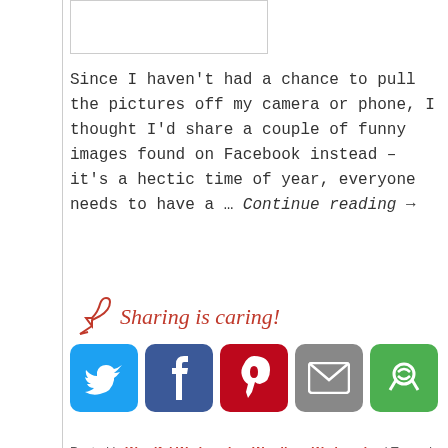[Figure (other): Small image thumbnail box at top left]
Since I haven't had a chance to pull the pictures off my camera or phone, I thought I'd share a couple of funny images found on Facebook instead – it's a hectic time of year, everyone needs to have a ... Continue reading →
[Figure (infographic): Sharing is caring! section with social media buttons: Twitter, Facebook, Pinterest, Email, and a share button]
Posted in Wordful Wednesday, Wordless Wednesday | Tagged Christmas, Facebook, Mister Linky, Wordful Wednesday, Wordless Wednesday
Like a Spazosaurus;